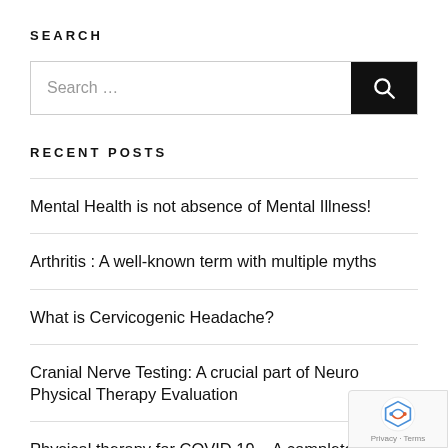SEARCH
Search …
RECENT POSTS
Mental Health is not absence of Mental Illness!
Arthritis : A well-known term with multiple myths
What is Cervicogenic Headache?
Cranial Nerve Testing: A crucial part of Neuro Physical Therapy Evaluation
Physical therapy for COVID 19 – A complete guide for managing COVID 19 patients with Rehabilitation